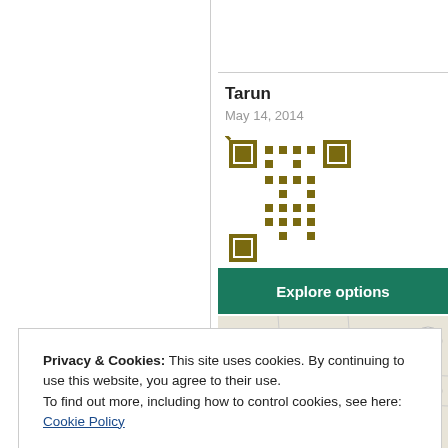Tarun
May 14, 2014
[Figure (other): QR code or decorative icon in dark gold/olive color]
Explore options
[Figure (map): Partial map view with beige/cream background]
Privacy & Cookies: This site uses cookies. By continuing to use this website, you agree to their use.
To find out more, including how to control cookies, see here: Cookie Policy
Close and accept